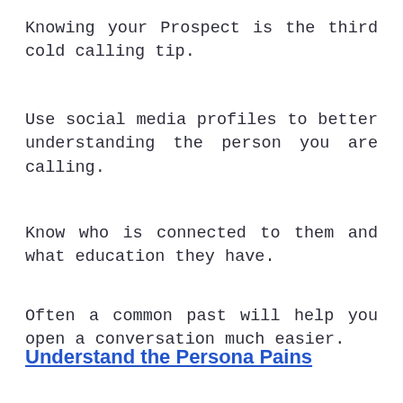Knowing your Prospect is the third cold calling tip.
Use social media profiles to better understanding the person you are calling.
Know who is connected to them and what education they have.
Often a common past will help you open a conversation much easier.
Understand the Persona Pains
You need to understand the pain point